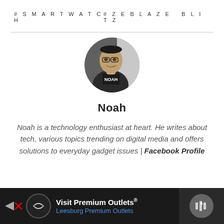#SMARTWATCH    #ZEBLAZE BLITZ
[Figure (photo): Circular profile photo of Noah, a man wearing glasses and a hoodie with 'NOAH' text, in black and white]
Noah
Noah is a technology enthusiast at heart. He writes about tech, various topics trending on digital media and offers solutions to everyday gadget issues | Facebook Profile
[Figure (infographic): Advertisement bar at bottom: Visit Premium Outlets® Leesburg Premium Outlets, with navigation icon and scroll-to-top button]